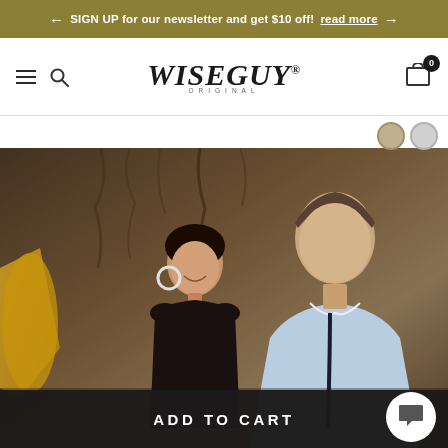← SIGN UP for our newsletter and get $10 off! read more →
[Figure (logo): Wiseguy Original brand logo with hamburger menu and search icon on the left, shopping cart icon on the right]
[Figure (photo): Fashion lifestyle photo of a smiling Asian woman in black outfit with hoop earrings and a man in light blue shirt, outdoor setting with vines and stone wall background]
ADD TO CART